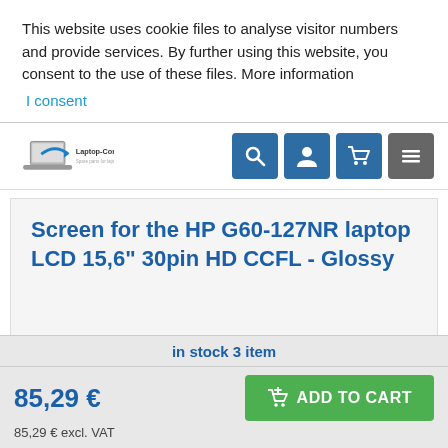This website uses cookie files to analyse visitor numbers and provide services. By further using this website, you consent to the use of these files. More information
I consent
[Figure (logo): Laptop-Components.eu logo with laptop icon and tagline 'Spare parts for laptops']
[Figure (infographic): Navigation icons: search (blue), user account (blue), cart (blue), menu (gray)]
Screen for the HP G60-127NR laptop LCD 15,6" 30pin HD CCFL - Glossy
in stock 3 item
85,29 €
85,29 € excl. VAT